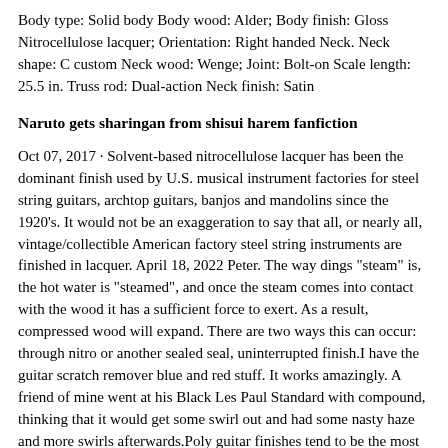Body type: Solid body Body wood: Alder; Body finish: Gloss Nitrocellulose lacquer; Orientation: Right handed Neck. Neck shape: C custom Neck wood: Wenge; Joint: Bolt-on Scale length: 25.5 in. Truss rod: Dual-action Neck finish: Satin
Naruto gets sharingan from shisui harem fanfiction
Oct 07, 2017 · Solvent-based nitrocellulose lacquer has been the dominant finish used by U.S. musical instrument factories for steel string guitars, archtop guitars, banjos and mandolins since the 1920's. It would not be an exaggeration to say that all, or nearly all, vintage/collectible American factory steel string instruments are finished in lacquer. April 18, 2022 Peter. The way dings "steam" is, the hot water is "steamed", and once the steam comes into contact with the wood it has a sufficient force to exert. As a result, compressed wood will expand. There are two ways this can occur: through nitro or another sealed seal, uninterrupted finish.I have the guitar scratch remover blue and red stuff. It works amazingly. A friend of mine went at his Black Les Paul Standard with compound, thinking that it would get some swirl out and had some nasty haze and more swirls afterwards.Poly guitar finishes tend to be the most popular because they're thicker and stronger than nitrocellulose (nitro). That produces a glossier look that's relatively simple to create. Their strength also resists cracks with continued use, reducing the risk of contraction and expansion. The